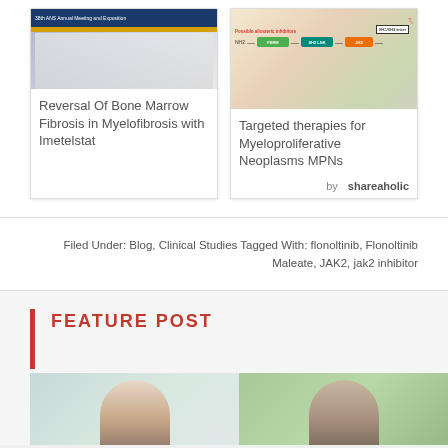[Figure (screenshot): Card showing conference/meeting thumbnail with text 'Reversal Of Bone Marrow Fibrosis in Myelofibrosis with Imetelstat']
[Figure (illustration): Card showing scientific diagram of JAK2 targeted therapies with domain boxes (FERM, SH2 LNK, JH2) and label 'Possible allosteric inhibitors'. Title: 'Targeted therapies for Myeloproliferative Neoplasms MPNs']
by shareaholic
Filed Under: Blog, Clinical Studies Tagged With: flonoltinib, Flonoltinib Maleate, JAK2, jak2 inhibitor
FEATURE POST
[Figure (photo): Two people photographed from shoulders up, left person appears in lighter background, right person appears in green-tinted background]